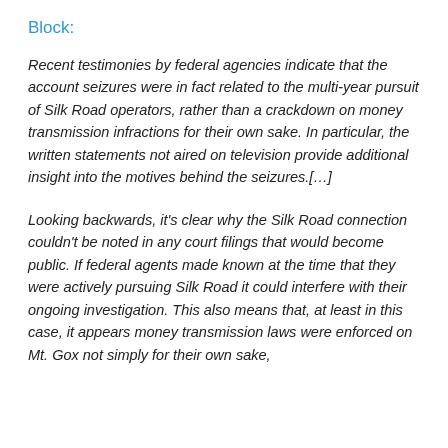Block:
Recent testimonies by federal agencies indicate that the account seizures were in fact related to the multi-year pursuit of Silk Road operators, rather than a crackdown on money transmission infractions for their own sake. In particular, the written statements not aired on television provide additional insight into the motives behind the seizures.[…]
Looking backwards, it's clear why the Silk Road connection couldn't be noted in any court filings that would become public. If federal agents made known at the time that they were actively pursuing Silk Road it could interfere with their ongoing investigation. This also means that, at least in this case, it appears money transmission laws were enforced on Mt. Gox not simply for their own sake,